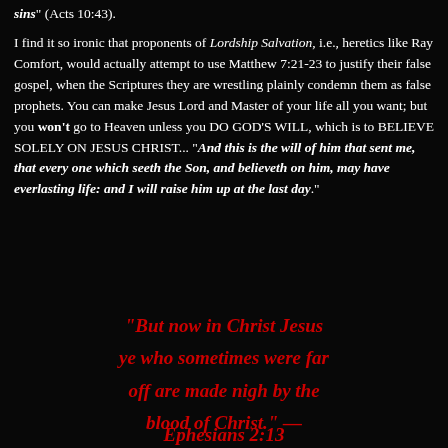sins" (Acts 10:43).

I find it so ironic that proponents of Lordship Salvation, i.e., heretics like Ray Comfort, would actually attempt to use Matthew 7:21-23 to justify their false gospel, when the Scriptures they are wrestling plainly condemn them as false prophets. You can make Jesus Lord and Master of your life all you want; but you won't go to Heaven unless you DO GOD'S WILL, which is to BELIEVE SOLELY ON JESUS CHRIST... "And this is the will of him that sent me, that every one which seeth the Son, and believeth on him, may have everlasting life: and I will raise him up at the last day."
"But now in Christ Jesus ye who sometimes were far off are made nigh by the blood of Christ." — Ephesians 2:13